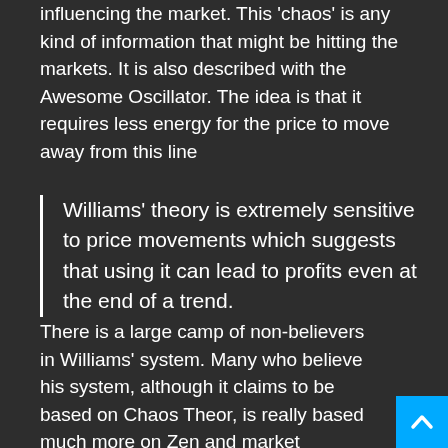influencing the market. This 'chaos' is any kind of information that might be hitting the markets. It is also described with the Awesome Oscillator. The idea is that it requires less energy for the price to move away from this line
Williams' theory is extremely sensitive to price movements which suggests that using it can lead to profits even at the end of a trend.
There is a large camp of non-believers in Williams' system. Many who believe his system, although it claims to be based on Chaos Theory, is really based much more on Zen and market behavior. Some also think that Bill Williams